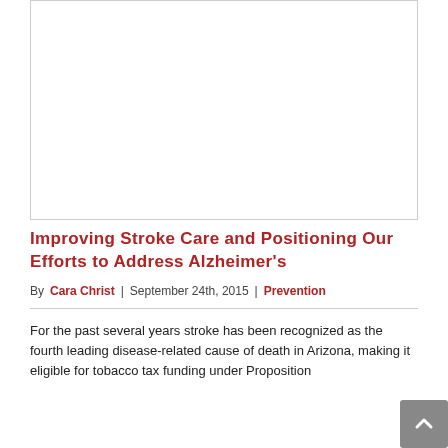[Figure (other): Advertisement or image placeholder area with light border]
Improving Stroke Care and Positioning Our Efforts to Address Alzheimer's
By Cara Christ | September 24th, 2015 | Prevention
For the past several years stroke has been recognized as the fourth leading disease-related cause of death in Arizona, making it eligible for tobacco tax funding under Proposition